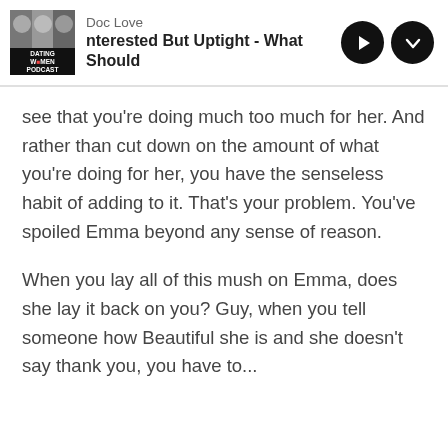Doc Love — nterested But Uptight - What Should
see that you're doing much too much for her. And rather than cut down on the amount of what you're doing for her, you have the senseless habit of adding to it. That's your problem. You've spoiled Emma beyond any sense of reason.
When you lay all of this mush on Emma, does she lay it back on you? Guy, when you tell someone how Beautiful she is and she doesn't say thank you, you have to...